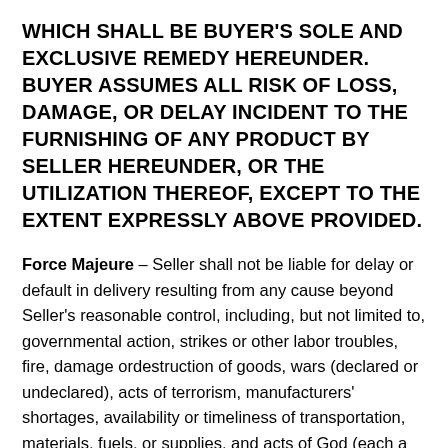WHICH SHALL BE BUYER'S SOLE AND EXCLUSIVE REMEDY HEREUNDER. BUYER ASSUMES ALL RISK OF LOSS, DAMAGE, OR DELAY INCIDENT TO THE FURNISHING OF ANY PRODUCT BY SELLER HEREUNDER, OR THE UTILIZATION THEREOF, EXCEPT TO THE EXTENT EXPRESSLY ABOVE PROVIDED.
Force Majeure – Seller shall not be liable for delay or default in delivery resulting from any cause beyond Seller's reasonable control, including, but not limited to, governmental action, strikes or other labor troubles, fire, damage ordestruction of goods, wars (declared or undeclared), acts of terrorism, manufacturers' shortages, availability or timeliness of transportation, materials, fuels, or supplies, and acts of God (each a "Force Majeure Event"). Upon the occurrence of a Force Majeure Event: (1) the time for Seller's performance shall be extended reasonably the Parties shall use commercially best efforts to...